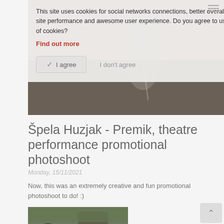This site uses cookies for social networks connections, better overall site performance and awesome user experience. Do you agree to use of cookies?
Find out more
✓ I agree    I don't agree
[Figure (photo): Dark artistic photo of a person with dramatic lighting, partially obscured by cookie overlay]
Špela Huzjak - Premik, theatre performance promotional photoshoot
Monday, 15/11/2021
Now, this was an extremely creative and fun promotional photoshoot to do! :)
>> READ MORE
[Figure (photo): Outdoor photo showing people near an old stone building with ivy, appearing to be a theatre or castle setting]